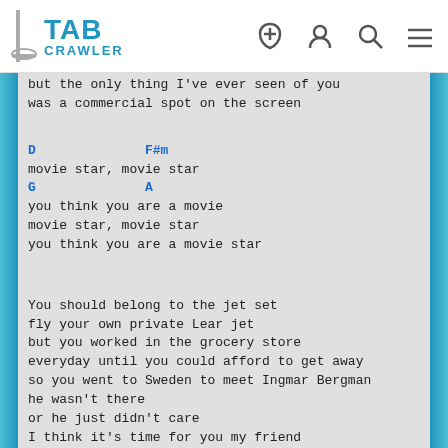TAB CRAWLER
but the only thing I've ever seen of you
was a commercial spot on the screen
D                F#m
movie star, movie star
G              A
you think you are a movie
movie star, movie star
you think you are a movie star
You should belong to the jet set
fly your own private Lear jet
but you worked in the grocery store
everyday until you could afford to get away
so you went to Sweden to meet Ingmar Bergman
he wasn't there
or he just didn't care
I think it's time for you my friend
to stop pretending that you are a
Movie star, movie star
you think you are a movie...
movie star, movie star
you think you are a movie star